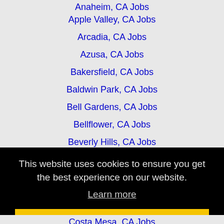Anaheim, CA Jobs
Apple Valley, CA Jobs
Arcadia, CA Jobs
Azusa, CA Jobs
Bakersfield, CA Jobs
Baldwin Park, CA Jobs
Bell Gardens, CA Jobs
Bellflower, CA Jobs
Beverly Hills, CA Jobs
Buena Park, CA Jobs
This website uses cookies to ensure you get the best experience on our website.
Learn more
Got it!
Costa Mesa, CA Jobs